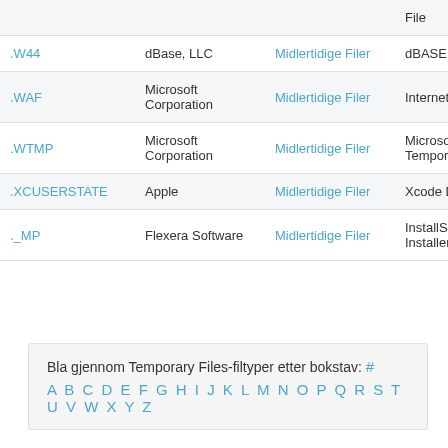| Extension | Developer | Category | Description |
| --- | --- | --- | --- |
|  |  |  | File |
| .W44 | dBase, LLC | Midlertidige Filer | dBASE T File |
| .WAF | Microsoft Corporation | Midlertidige Filer | Internet For Mac |
| .WTMP | Microsoft Corporation | Midlertidige Filer | Microsoft For Mac Temporary |
| .XCUSERSTATE | Apple | Midlertidige Filer | Xcode D |
| ._MP | Flexera Software | Midlertidige Filer | InstallSh Temporary Installer |
Bla gjennom Temporary Files-filtyper etter bokstav: # A B C D E F G H I J K L M N O P Q R S T U V W X Y Z